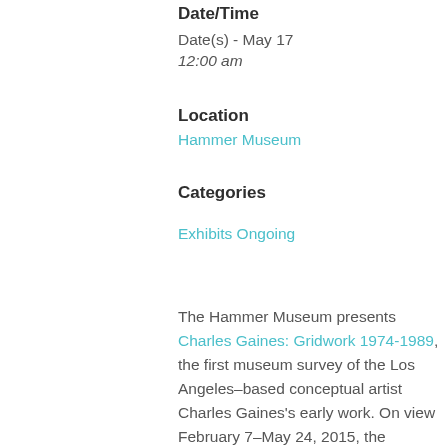Date/Time
Date(s) - May 17
12:00 am
Location
Hammer Museum
Categories
Exhibits Ongoing
The Hammer Museum presents Charles Gaines: Gridwork 1974-1989, the first museum survey of the Los Angeles–based conceptual artist Charles Gaines's early work. On view February 7–May 24, 2015, the exhibition features eleven different series including more than 80 works and relevant ephemera from the early years of Gaines's career, which now spans over four decades. He is highly regarded as both a leading